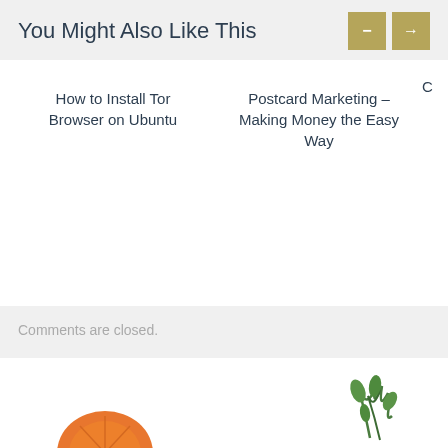You Might Also Like This
How to Install Tor Browser on Ubuntu
Postcard Marketing – Making Money the Easy Way
Comments are closed.
[Figure (photo): Bottom portion showing fruits and vegetables on white background — partial orange/citrus on left, green herbs/vegetables on right]